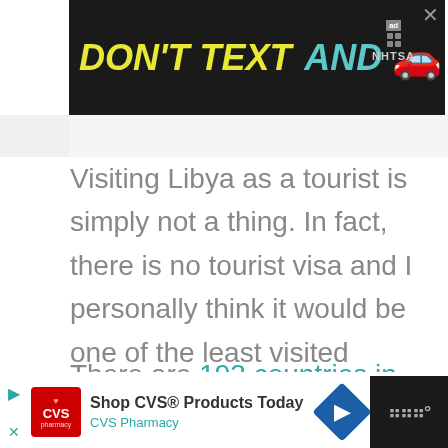[Figure (screenshot): Top advertisement banner: black background with yellow italic text 'DON'T TEXT' and teal 'AND' with a red car emoji, NHTSA ad badge, close X button]
Visiting Libya as a tourist is simply not a thing. In fact, there is no tourist visa and I personally think it would be one of the least visited countries in the world in the past years if we had any access to the data.
There are 193 countries in the world according to the UN and travel to Libya is as off the
[Figure (screenshot): Bottom advertisement banner: CVS Pharmacy ad with CVS logo, 'Shop CVS® Products Today', navigation arrow icon, and wordmark on dark right section]